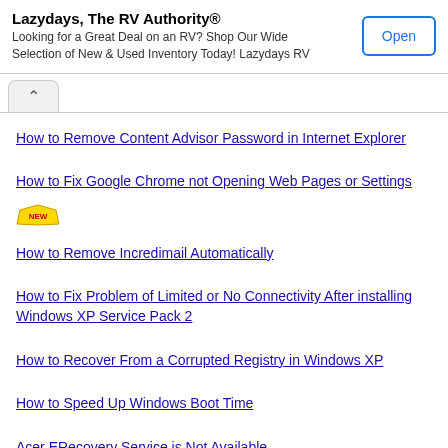[Figure (screenshot): Advertisement banner for Lazydays, The RV Authority with Open button]
How to Remove Content Advisor Password in Internet Explorer
How to Fix Google Chrome not Opening Web Pages or Settings [NEW]
How to Remove Incredimail Automatically
How to Fix Problem of Limited or No Connectivity After installing Windows XP Service Pack 2
How to Recover From a Corrupted Registry in Windows XP
How to Speed Up Windows Boot Time
Acer ERecovery Service is Not Available